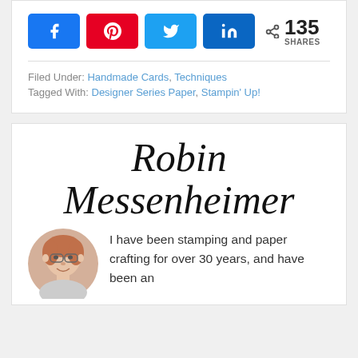[Figure (infographic): Social share buttons: Facebook (blue), Pinterest (red), Twitter (light blue), LinkedIn (dark blue), and a share count showing 135 SHARES]
Filed Under: Handmade Cards, Techniques
Tagged With: Designer Series Paper, Stampin' Up!
Robin Messenheimer
[Figure (photo): Circular portrait photo of Robin Messenheimer, an older woman with reddish hair and glasses, smiling]
I have been stamping and paper crafting for over 30 years, and have been an